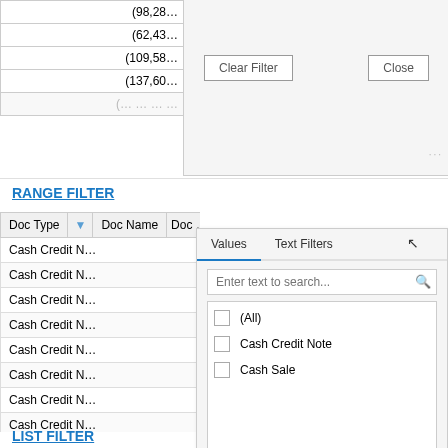| (98,28… |
| (62,43… |
| (109,58… |
| (137,60… |
| (…) |
[Figure (screenshot): Dialog box with Clear Filter and Close buttons at top of page]
RANGE FILTER
| Doc Type | ▼ | Doc Name | Doc … |
| --- | --- | --- | --- |
| Cash Credit N… |  |  |  |
| Cash Credit N… |  |  |  |
| Cash Credit N… |  |  |  |
| Cash Credit N… |  |  |  |
| Cash Credit N… |  |  |  |
| Cash Credit N… |  |  |  |
| Cash Credit N… |  |  |  |
| Cash Credit N… |  |  |  |
| Cash Credit N… |  |  |  |
| Cash Credit N… |  |  |  |
| Cash Credit N… |  |  |  |
| Cash Credit N… |  |  |  |
[Figure (screenshot): Filter dialog with Values and Text Filters tabs, search box, and checkbox list with (All), Cash Credit Note, Cash Sale options, plus Clear Filter and Close buttons]
LIST FILTER